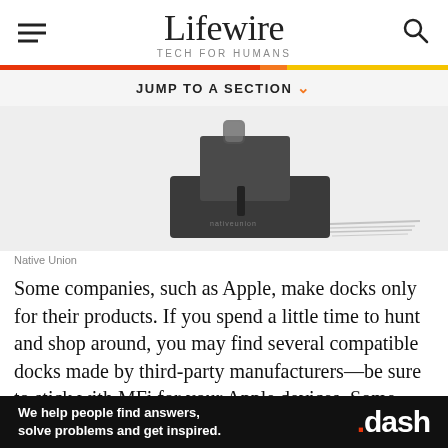Lifewire TECH FOR HUMANS
JUMP TO A SECTION
[Figure (photo): A dark gray/black charging dock (Native Union brand) on a white background, showing the base unit with a cable coiled on the right side.]
Native Union
Some companies, such as Apple, make docks only for their products. If you spend a little time to hunt and shop around, you may find several compatible docks made by third-party manufacturers—be sure to stick with MFi for your Apple devices. Some docks might be
[Figure (infographic): Advertisement banner: 'We help people find answers, solve problems and get inspired.' with .dash logo on black background.]